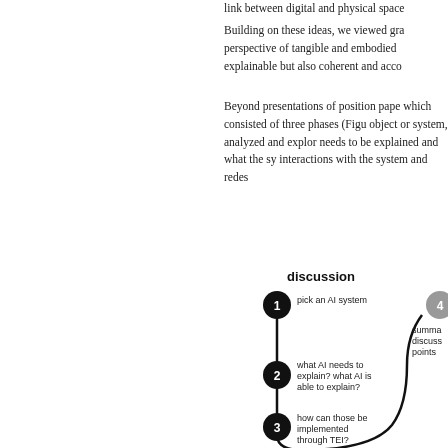link between digital and physical space
Building on these ideas, we viewed gra perspective of tangible and embodied explainable but also coherent and acco
Beyond presentations of position pape which consisted of three phases (Figu object or system, analyzed and explor needs to be explained and what the sy interactions with the system and redes
[Figure (flowchart): Discussion flowchart with 4 numbered steps in a curved path: 1. pick an AI system, 2. what AI needs to explain? what AI is able to explain?, 3. how can those be implemented through TEI?, 4. (partially visible) summa discuss points]